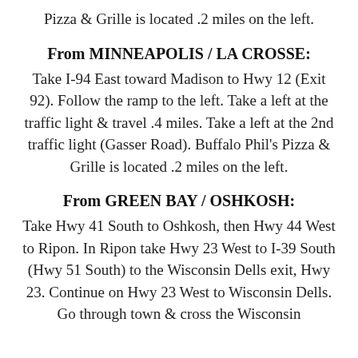Pizza & Grille is located .2 miles on the left.
From MINNEAPOLIS / LA CROSSE:
Take I-94 East toward Madison to Hwy 12 (Exit 92). Follow the ramp to the left. Take a left at the traffic light & travel .4 miles. Take a left at the 2nd traffic light (Gasser Road). Buffalo Phil's Pizza & Grille is located .2 miles on the left.
From GREEN BAY / OSHKOSH:
Take Hwy 41 South to Oshkosh, then Hwy 44 West to Ripon. In Ripon take Hwy 23 West to I-39 South (Hwy 51 South) to the Wisconsin Dells exit, Hwy 23. Continue on Hwy 23 West to Wisconsin Dells. Go through town & cross the Wisconsin